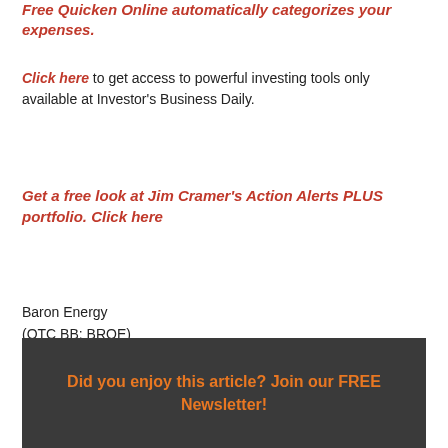Free Quicken Online automatically categorizes your expenses.
Click here to get access to powerful investing tools only available at Investor's Business Daily.
Get a free look at Jim Cramer's Action Alerts PLUS portfolio. Click here
Baron Energy
(OTC BB: BROE)
Ronny Steinocher, CEO and President
Did you enjoy this article? Join our FREE Newsletter!